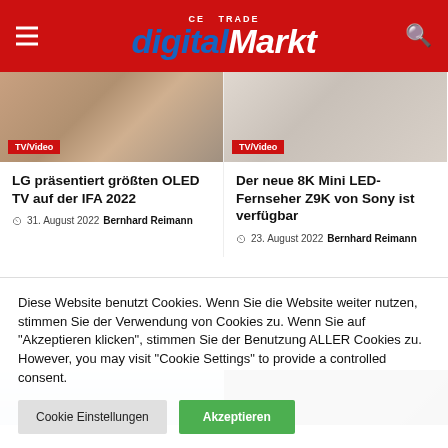[Figure (logo): CE Trade digitalMarkt website header with red background, hamburger menu, logo and search icon]
LG präsentiert größten OLED TV auf der IFA 2022
31. August 2022  Bernhard Reimann
Der neue 8K Mini LED-Fernseher Z9K von Sony ist verfügbar
23. August 2022  Bernhard Reimann
[Figure (photo): Two partially visible images at bottom of page — mountains/landscape on left, dark device on right]
Diese Website benutzt Cookies. Wenn Sie die Website weiter nutzen, stimmen Sie der Verwendung von Cookies zu. Wenn Sie auf "Akzeptieren klicken", stimmen Sie der Benutzung ALLER Cookies zu. However, you may visit "Cookie Settings" to provide a controlled consent.
Cookie Einstellungen   Akzeptieren